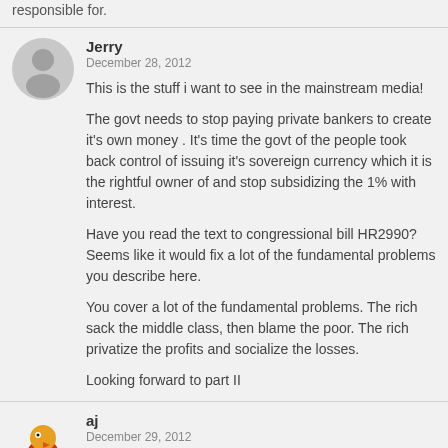responsible for.
Jerry
December 28, 2012
This is the stuff i want to see in the mainstream media!

The govt needs to stop paying private bankers to create it's own money . It's time the govt of the people took back control of issuing it's sovereign currency which it is the rightful owner of and stop subsidizing the 1% with interest.

Have you read the text to congressional bill HR2990? Seems like it would fix a lot of the fundamental problems you describe here.

You cover a lot of the fundamental problems. The rich sack the middle class, then blame the poor. The rich privatize the profits and socialize the losses.

Looking forward to part II
aj
December 29, 2012
FYI, the full article is already up on his personal blog. You can go there if you want to read ahead